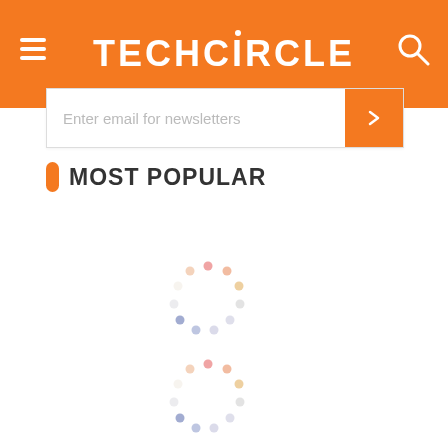TECHCiRCLE
Enter email for newsletters
MOST POPULAR
[Figure (other): Loading spinner (animated circular dots) - content loading indicator, first instance]
[Figure (other): Loading spinner (animated circular dots) - content loading indicator, second instance]